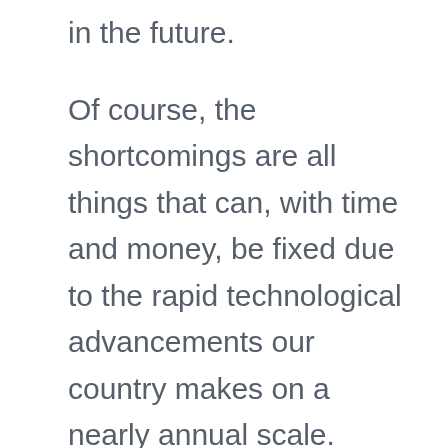in the future.
Of course, the shortcomings are all things that can, with time and money, be fixed due to the rapid technological advancements our country makes on a nearly annual scale.
The benefits of renewable energy sources are breathtaking. While we may not entirely be in a